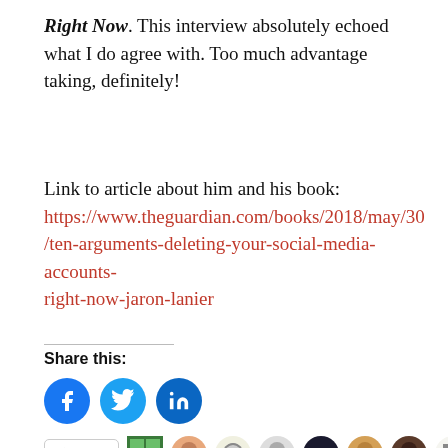Right Now. This interview absolutely echoed what I do agree with. Too much advantage taking, definitely!
Link to article about him and his book: https://www.theguardian.com/books/2018/may/30/ten-arguments-deleting-your-social-media-accounts-right-now-jaron-lanier
Share this:
[Figure (other): Social share buttons: Facebook, Twitter, LinkedIn circles]
[Figure (other): Like button and blogger avatars strip]
58 bloggers like this.